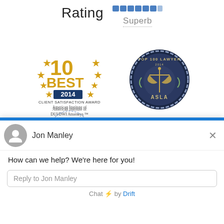Rating
[Figure (other): Blue segmented rating bar]
Superb
[Figure (logo): 10 Best 2014 Client Satisfaction Award - American Institute of DUI/DWI Attorneys badge with gold stars]
[Figure (logo): Top 100 Lawyer 2014 ASLA circular badge with scales of justice]
[Figure (logo): The National Trial Lawyers logo with lady justice figure]
[Figure (screenshot): Chat widget popup showing Jon Manley with message 'How can we help? We're here for you!' and reply input field, powered by Drift]